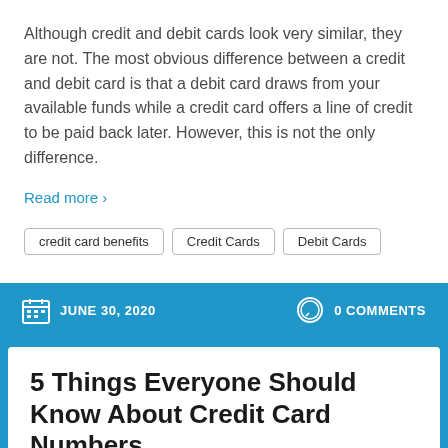Although credit and debit cards look very similar, they are not. The most obvious difference between a credit and debit card is that a debit card draws from your available funds while a credit card offers a line of credit to be paid back later. However, this is not the only difference.
Read more >
credit card benefits
Credit Cards
Debit Cards
JUNE 30, 2020   0 COMMENTS
5 Things Everyone Should Know About Credit Card Numbers
Sean Bryant